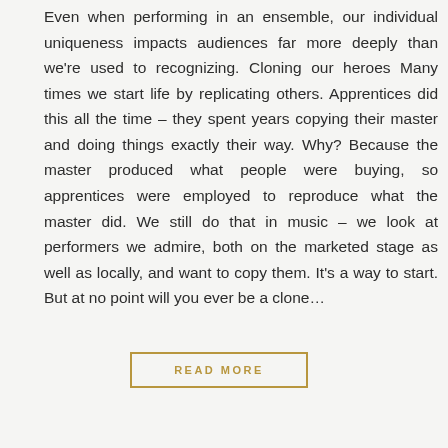Even when performing in an ensemble, our individual uniqueness impacts audiences far more deeply than we're used to recognizing. Cloning our heroes Many times we start life by replicating others. Apprentices did this all the time – they spent years copying their master and doing things exactly their way. Why? Because the master produced what people were buying, so apprentices were employed to reproduce what the master did. We still do that in music – we look at performers we admire, both on the marketed stage as well as locally, and want to copy them. It's a way to start. But at no point will you ever be a clone…
READ MORE